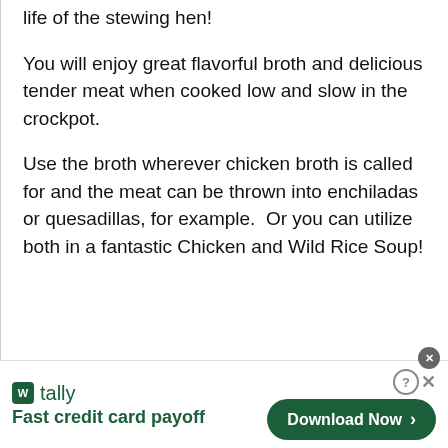life of the stewing hen!
You will enjoy great flavorful broth and delicious tender meat when cooked low and slow in the crockpot.
Use the broth wherever chicken broth is called for and the meat can be thrown into enchiladas or quesadillas, for example.  Or you can utilize both in a fantastic Chicken and Wild Rice Soup!
[Figure (screenshot): Advertisement banner for Tally app — Fast credit card payoff, with a Download Now button]